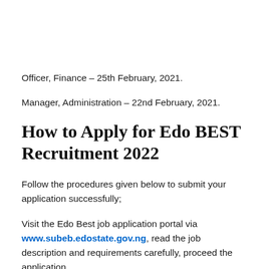Officer, Finance – 25th February, 2021.
Manager, Administration – 22nd February, 2021.
How to Apply for Edo BEST Recruitment 2022
Follow the procedures given below to submit your application successfully;
Visit the Edo Best job application portal via www.subeb.edostate.gov.ng, read the job description and requirements carefully, proceed the application